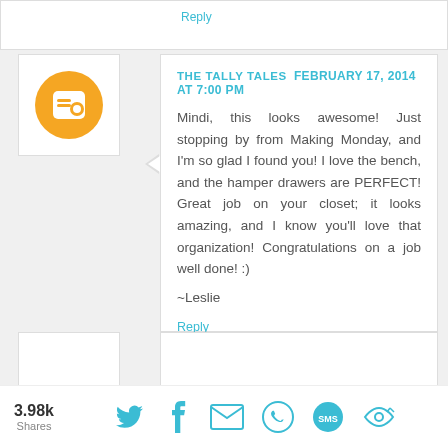Reply
THE TALLY TALES FEBRUARY 17, 2014 AT 7:00 PM
Mindi, this looks awesome! Just stopping by from Making Monday, and I'm so glad I found you! I love the bench, and the hamper drawers are PERFECT! Great job on your closet; it looks amazing, and I know you'll love that organization! Congratulations on a job well done! :)

~Leslie
Reply
3.98k Shares